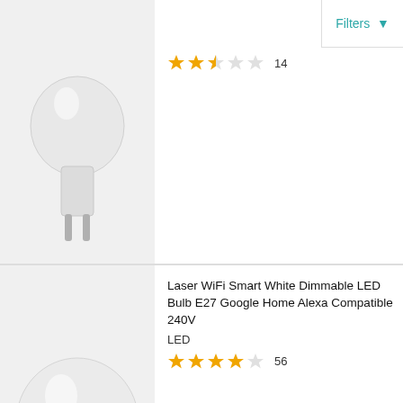Filters
[Figure (photo): Partial image of a small LED bulb with pin base (GU5.3 style), white body, visible at top of page]
2.5 stars out of 5, 14 reviews
[Figure (photo): White LED bulb with E27 screw base, globe shape, Laser brand logo on bulb]
Laser WiFi Smart White Dimmable LED Bulb E27 Google Home Alexa Compatible 240V
LED
4 stars out of 5, 56 reviews
[Figure (photo): Smart RGBW downlight GU10 bulb with silver/chrome body and colorful RGB light glow at base]
Laser Smart RGBW Downlight (GU10) WiFi Google Alexa 240V Dimmable
3 stars out of 5, 6 reviews